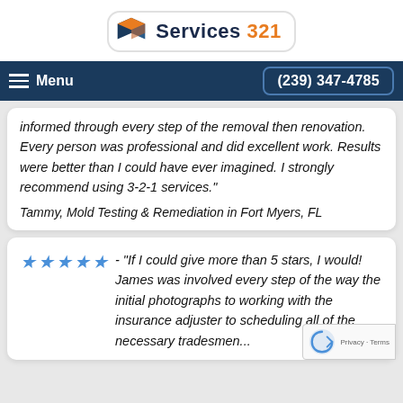[Figure (logo): Services 321 logo with geometric cube icon in blue and orange, text reads 'Services 321']
Menu  (239) 347-4785
informed through every step of the removal then renovation. Every person was professional and did excellent work. Results were better than I could have ever imagined. I strongly recommend using 3-2-1 services."
Tammy, Mold Testing & Remediation in Fort Myers, FL
★★★★★ - "If I could give more than 5 stars, I would! James was involved every step of the way the initial photographs to working with the insurance adjuster to scheduling all of the necessary tradesmen...